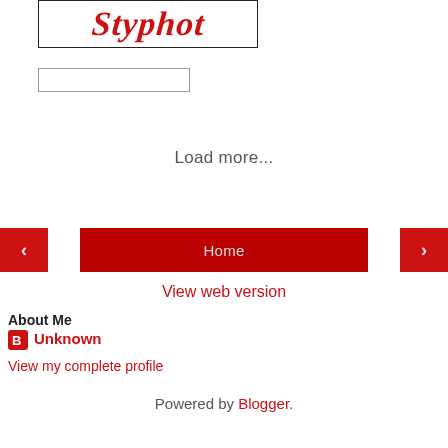[Figure (logo): Stylphot logo text in red italic serif font inside a bordered box]
[Figure (screenshot): Empty text input box with grey border]
Load more...
[Figure (screenshot): Navigation bar with red left arrow button, red Home center button, red right arrow button]
View web version
About Me
Unknown
View my complete profile
Powered by Blogger.